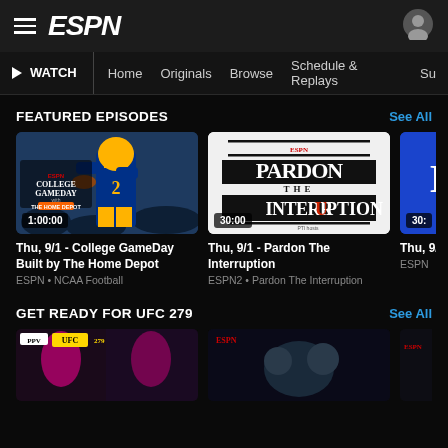ESPN
WATCH | Home | Originals | Browse | Schedule & Replays | Su…
FEATURED EPISODES
See All
[Figure (screenshot): College GameDay Built by The Home Depot thumbnail showing football player in blue/gold uniform, 1:00:00 duration]
Thu, 9/1 - College GameDay Built by The Home Depot
ESPN • NCAA Football
[Figure (screenshot): Pardon The Interruption show logo thumbnail on white background, 30:00 duration]
Thu, 9/1 - Pardon The Interruption
ESPN2 • Pardon The Interruption
[Figure (screenshot): Partial third card thumbnail (blue), 30:... duration]
Thu, 9/…
ESPN
GET READY FOR UFC 279
See All
[Figure (screenshot): UFC 279 PPV thumbnail]
[Figure (screenshot): UFC fighter thumbnail]
[Figure (screenshot): ESPN UFC partial thumbnail]